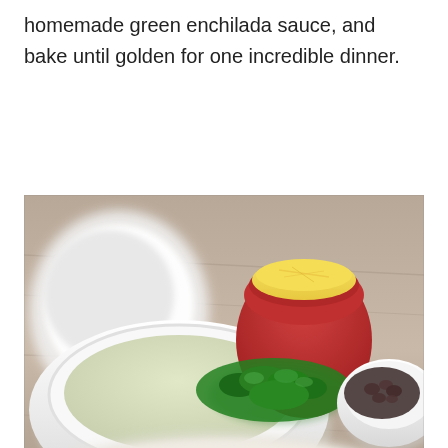homemade green enchilada sauce, and bake until golden for one incredible dinner.
[Figure (photo): Food ingredients on a wooden table: a white bowl with creamy green enchilada sauce, a red cup with shredded yellow cheese, fresh chopped green herbs/cilantro, a small white bowl with dark beans, and a plate with sliced cooked chicken in the foreground. Below is a blurred advertisement showing shredded chicken with a close (X) button.]